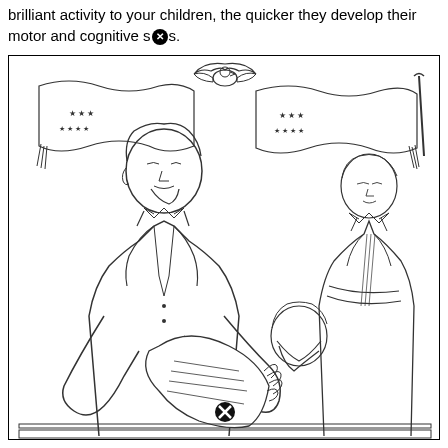brilliant activity to your children, the quicker they develop their motor and cognitive skills.
[Figure (illustration): A coloring book style line drawing depicting Abraham Lincoln in the foreground holding papers, with two other figures behind him. An eagle and decorative bunting with stars are visible in the background. There are two circular error/close icons overlaid on the image.]